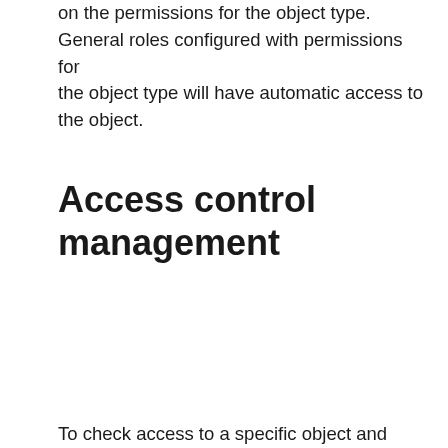on the permissions for the object type. General roles configured with permissions for the object type will have automatic access to the object.
Access control management
Cookie policy
We use cookies to understand how our users use our site, to improve your experience. By continuing to use our site, you accept the use of cookies described in our cookie policy.
Fine by me
To check access to a specific object and